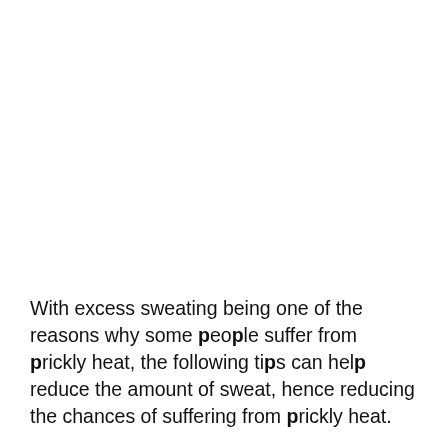With excess sweating being one of the reasons why some people suffer from prickly heat, the following tips can help reduce the amount of sweat, hence reducing the chances of suffering from prickly heat.